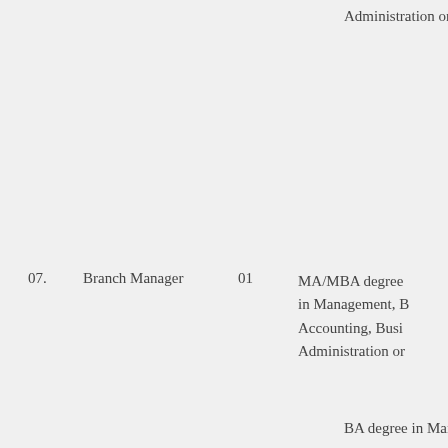Administration or
07.   Branch Manager   01   MA/MBA degree in Management, B Accounting, Busi Administration or
BA degree in Mar